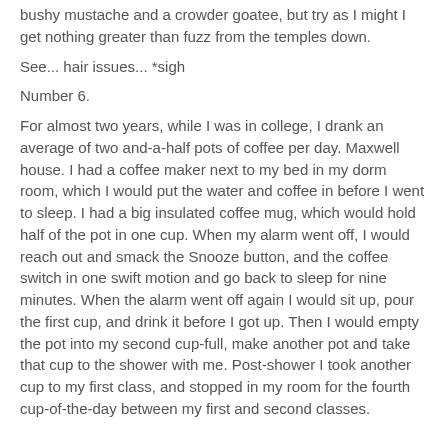bushy mustache and a crowder goatee, but try as I might I get nothing greater than fuzz from the temples down.
See... hair issues... *sigh
Number 6.
For almost two years, while I was in college, I drank an average of two and-a-half pots of coffee per day. Maxwell house. I had a coffee maker next to my bed in my dorm room, which I would put the water and coffee in before I went to sleep. I had a big insulated coffee mug, which would hold half of the pot in one cup. When my alarm went off, I would reach out and smack the Snooze button, and the coffee switch in one swift motion and go back to sleep for nine minutes. When the alarm went off again I would sit up, pour the first cup, and drink it before I got up. Then I would empty the pot into my second cup-full, make another pot and take that cup to the shower with me. Post-shower I took another cup to my first class, and stopped in my room for the fourth cup-of-the-day between my first and second classes.